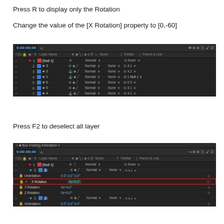Press R to display only the Rotation
Change the value of the [X Rotation] property to [0,-60]
[Figure (screenshot): Adobe After Effects timeline panel showing layers list with Null 1, star layers 3,2,1,6,5,4 with Normal blending modes and parent/link settings]
Press F2 to deselect all layer
[Figure (screenshot): Adobe After Effects timeline panel for Box Folding Animation showing expanded layer 2 (star 3) with Orientation, X Rotation (0x+0.0°), Y Rotation, Z Rotation sub-properties, with X Rotation highlighted in red box]